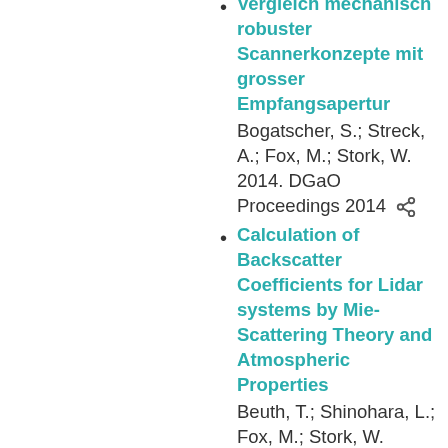Vergleich mechanisch robuster Scannerkonzepte mit grosser Empfangsapertur
Bogatscher, S.; Streck, A.; Fox, M.; Stork, W. 2014. DGaO Proceedings 2014
Calculation of Backscatter Coefficients for Lidar systems by Mie-Scattering Theory and Atmospheric Properties
Beuth, T.; Shinohara, L.; Fox, M.; Stork, W. 2014. DGaO Proceedings 2014
Investigations in the mechanisms of